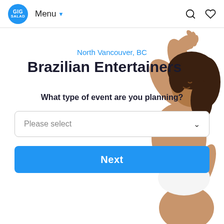GIG SALAD  Menu  [search icon] [heart icon]
[Figure (photo): Woman with curly hair dancing with arms raised, shown on the right side of the page as a decorative background illustration]
North Vancouver, BC
Brazilian Entertainers
What type of event are you planning?
Please select
Next